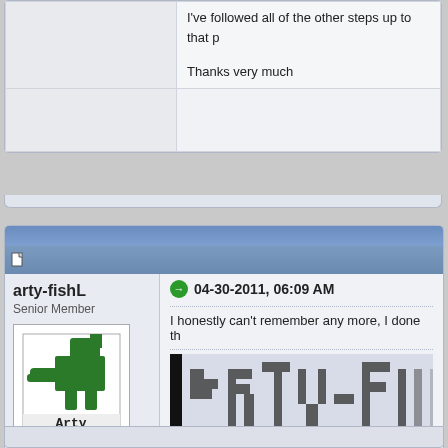I've followed all of the other steps up to that p
Thanks very much
arty-fishL
Senior Member
[Figure (illustration): User avatar: green pixelated character with gun labeled 'Arty']
Status: Offline
Posts: 1,878
Join Date: Mar 2008
Location: In the corner of your eye
04-30-2011, 06:09 AM
I honestly can't remember any more, I done th
[Figure (screenshot): Forum signature image showing pixelated text 'arty-fis...' with large stylized letters]
I have mostly moved on from Alice, but may sti